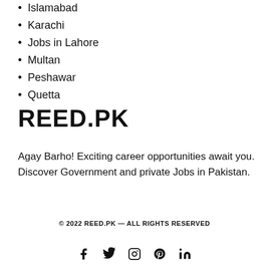Islamabad
Karachi
Jobs in Lahore
Multan
Peshawar
Quetta
REED.PK
Agay Barho! Exciting career opportunities await you. Discover Government and private Jobs in Pakistan.
© 2022 REED.PK — ALL RIGHTS RESERVED
[Figure (other): Social media icons: Facebook, Twitter, Instagram, Pinterest, LinkedIn]